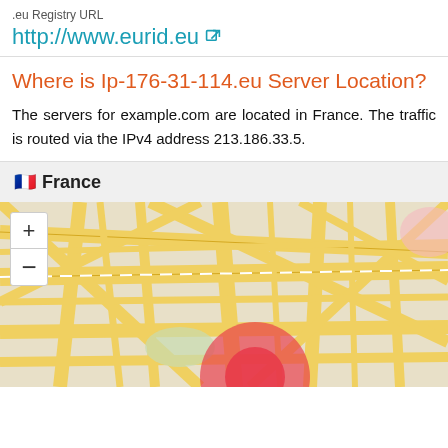.eu Registry URL
http://www.eurid.eu
Where is Ip-176-31-114.eu Server Location?
The servers for example.com are located in France. The traffic is routed via the IPv4 address 213.186.33.5.
🇫🇷 France
[Figure (map): Street map showing Paris, France with a red location marker circle and zoom controls (+/-)]